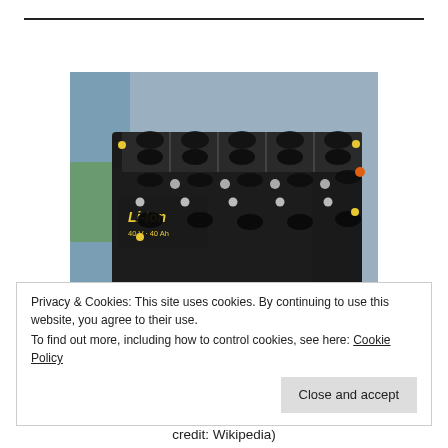[Figure (photo): A Li-Ion battery pack labeled '40 V · 40 Ah', dark rectangular enclosure with multiple black cable connectors and yellow vent caps on top, displayed on a surface with a bluish background.]
Privacy & Cookies: This site uses cookies. By continuing to use this website, you agree to their use.
To find out more, including how to control cookies, see here: Cookie Policy
credit: Wikipedia)